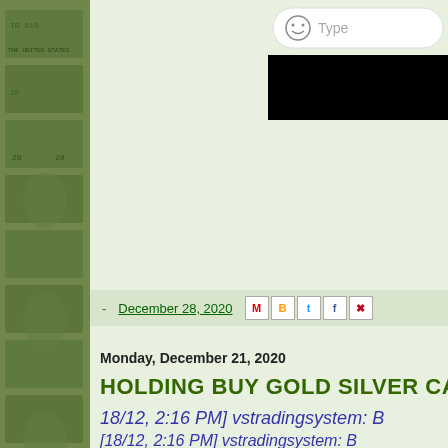[Figure (photo): US dollar bills arranged as a background image on the left side strip]
[Figure (screenshot): Chat UI screenshot in top right corner showing emoji icon and 'Type' text input area with black area below]
- December 28, 2020
Monday, December 21, 2020
HOLDING BUY GOLD SILVER CA
18/12, 2:16 PM] vstradingsystem: B
[18/12, 2:16 PM] vstradingsystem: B